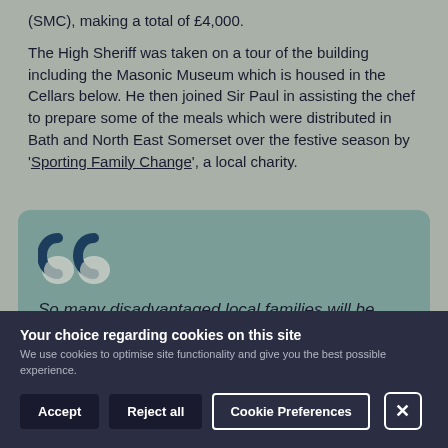(SMC), making a total of £4,000.
The High Sheriff was taken on a tour of the building including the Masonic Museum which is housed in the Cellars below. He then joined Sir Paul in assisting the chef to prepare some of the meals which were distributed in Bath and North East Somerset over the festive season by 'Sporting Family Change', a local charity.
So many disadvantaged local families will be able to enjoy a decent meal this Christmas because of the support we have received from
Your choice regarding cookies on this site
We use cookies to optimise site functionality and give you the best possible experience.
Accept | Reject all | Cookie Preferences | X